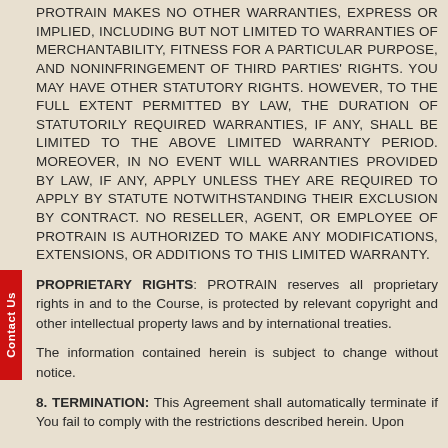PROTRAIN MAKES NO OTHER WARRANTIES, EXPRESS OR IMPLIED, INCLUDING BUT NOT LIMITED TO WARRANTIES OF MERCHANTABILITY, FITNESS FOR A PARTICULAR PURPOSE, AND NONINFRINGEMENT OF THIRD PARTIES' RIGHTS. YOU MAY HAVE OTHER STATUTORY RIGHTS. HOWEVER, TO THE FULL EXTENT PERMITTED BY LAW, THE DURATION OF STATUTORILY REQUIRED WARRANTIES, IF ANY, SHALL BE LIMITED TO THE ABOVE LIMITED WARRANTY PERIOD. MOREOVER, IN NO EVENT WILL WARRANTIES PROVIDED BY LAW, IF ANY, APPLY UNLESS THEY ARE REQUIRED TO APPLY BY STATUTE NOTWITHSTANDING THEIR EXCLUSION BY CONTRACT. NO RESELLER, AGENT, OR EMPLOYEE OF PROTRAIN IS AUTHORIZED TO MAKE ANY MODIFICATIONS, EXTENSIONS, OR ADDITIONS TO THIS LIMITED WARRANTY.
PROPRIETARY RIGHTS: PROTRAIN reserves all proprietary rights in and to the Course, is protected by relevant copyright and other intellectual property laws and by international treaties.
The information contained herein is subject to change without notice.
8. TERMINATION: This Agreement shall automatically terminate if You fail to comply with the restrictions described herein. Upon